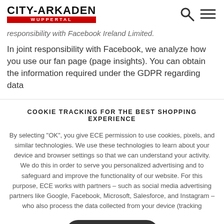City-Arkaden Wuppertal
responsibility with Facebook Ireland Limited.
In joint responsibility with Facebook, we analyze how you use our fan page (page insights). You can obtain the information required under the GDPR regarding data
COOKIE TRACKING FOR THE BEST SHOPPING EXPERIENCE
By selecting “OK”, you give ECE permission to use cookies, pixels, and similar technologies. We use these technologies to learn about your device and browser settings so that we can understand your activity. We do this in order to serve you personalized advertising and to safeguard and improve the functionality of our website. For this purpose, ECE works with partners – such as social media advertising partners like Google, Facebook, Microsoft, Salesforce, and Instagram – who also process the data collected from your device (tracking
OK
Decline cookies   Manage settings